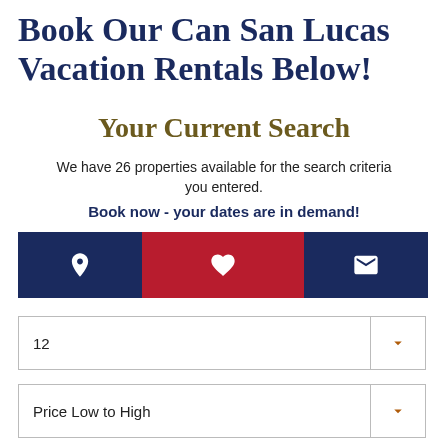Book Our Can San Lucas Vacation Rentals Below!
Your Current Search
We have 26 properties available for the search criteria you entered.
Book now - your dates are in demand!
[Figure (infographic): A three-section icon bar with dark navy background. Left section has a location pin icon, middle section has a red background with a heart icon, right section has an envelope icon. All icons are white.]
12
Price Low to High